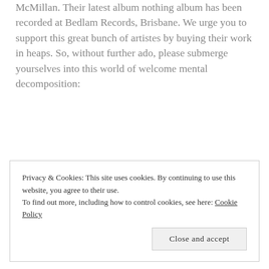McMillan. Their latest album nothing album has been recorded at Bedlam Records, Brisbane. We urge you to support this great bunch of artistes by buying their work in heaps. So, without further ado, please submerge yourselves into this world of welcome mental decomposition:
Privacy & Cookies: This site uses cookies. By continuing to use this website, you agree to their use. To find out more, including how to control cookies, see here: Cookie Policy
Close and accept